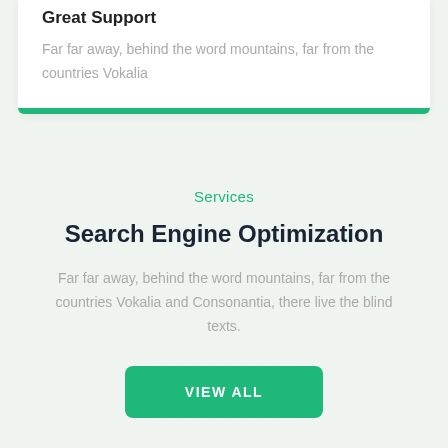Great Support
Far far away, behind the word mountains, far from the countries Vokalia
Services
Search Engine Optimization
Far far away, behind the word mountains, far from the countries Vokalia and Consonantia, there live the blind texts.
VIEW ALL